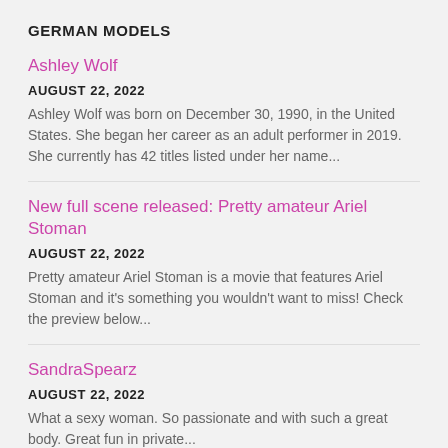GERMAN MODELS
Ashley Wolf
AUGUST 22, 2022
Ashley Wolf was born on December 30, 1990, in the United States. She began her career as an adult performer in 2019. She currently has 42 titles listed under her name...
New full scene released: Pretty amateur Ariel Stoman
AUGUST 22, 2022
Pretty amateur Ariel Stoman is a movie that features Ariel Stoman and it's something you wouldn't want to miss! Check the preview below...
SandraSpearz
AUGUST 22, 2022
What a sexy woman. So passionate and with such a great body. Great fun in private...
...